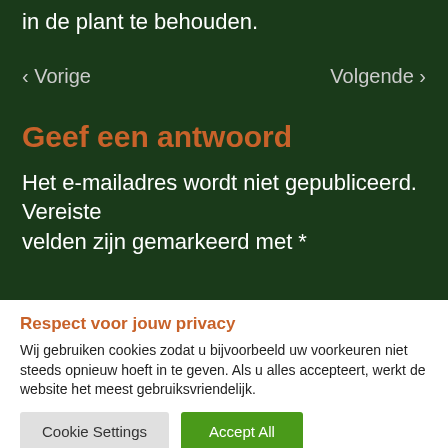in de plant te behouden.
‹ Vorige    Volgende ›
Geef een antwoord
Het e-mailadres wordt niet gepubliceerd. Vereiste velden zijn gemarkeerd met *
Respect voor jouw privacy
Wij gebruiken cookies zodat u bijvoorbeeld uw voorkeuren niet steeds opnieuw hoeft in te geven. Als u alles accepteert, werkt de website het meest gebruiksvriendelijk.
Cookie Settings   Accept All